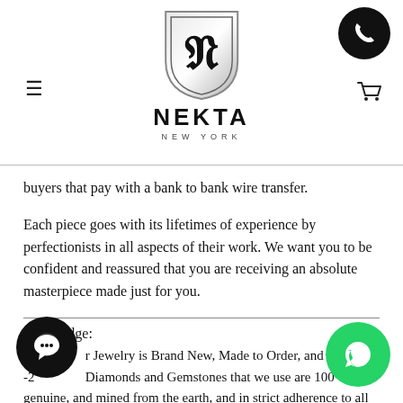NEKTA NEW YORK
buyers that pay with a bank to bank wire transfer.
Each piece goes with its lifetimes of experience by perfectionists in all aspects of their work. We want you to be confident and reassured that you are receiving an absolute masterpiece made just for you.
Our Pledge:
-1. Our Jewelry is Brand New, Made to Order, and auth...
-2. The Diamonds and Gemstones that we use are 100%..., genuine, and mined from the earth, and in strict adherence to all Diamond and Gemstone Trading Laws.